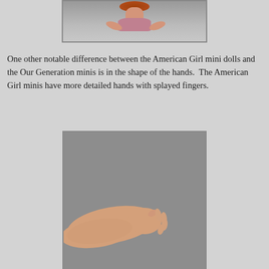[Figure (photo): Top portion of a doll photo showing the head/torso area from above, against a gray background]
One other notable difference between the American Girl mini dolls and the Our Generation minis is in the shape of the hands.  The American Girl minis have more detailed hands with splayed fingers.
[Figure (photo): Close-up photo of an American Girl mini doll arm and hand with splayed fingers against a gray background]